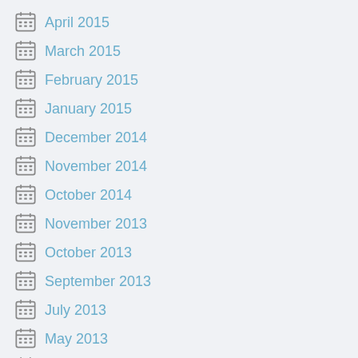April 2015
March 2015
February 2015
January 2015
December 2014
November 2014
October 2014
November 2013
October 2013
September 2013
July 2013
May 2013
April 2013
March 2013
February 2013